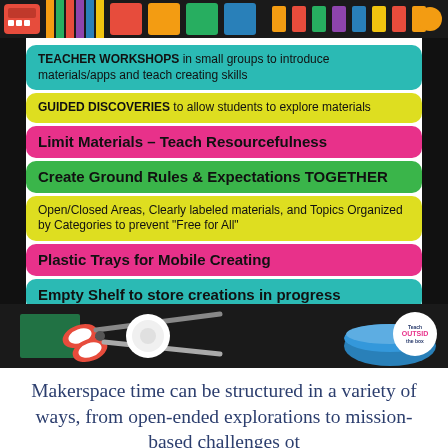[Figure (infographic): Colorful infographic with school supplies at top and bottom, containing labeled cards for makerspace setup tips]
TEACHER WORKSHOPS in small groups to introduce materials/apps and teach creating skills
GUIDED DISCOVERIES to allow students to explore materials
Limit Materials – Teach Resourcefulness
Create Ground Rules & Expectations TOGETHER
Open/Closed Areas, Clearly labeled materials, and Topics Organized by Categories to prevent "Free for All"
Plastic Trays for Mobile Creating
Empty Shelf to store creations in progress
Makerspace time can be structured in a variety of ways, from open-ended explorations to mission-based challenges ot